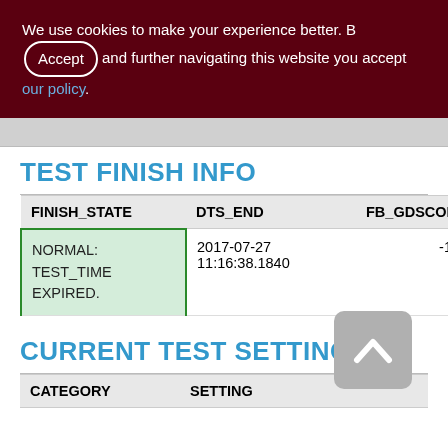We use cookies to make your experience better. By Accepting and further navigating this website you accept our policy.
TEST FINISH INFO
| FINISH_STATE | DTS_END | FB_GDSCODE | FB_MN... |
| --- | --- | --- | --- |
| NORMAL: TEST_TIME EXPIRED. | 2017-07-27 11:16:38.1840 | -1 | <null> |
CURRENT TEST SETTINGS
| CATEGORY | SETTING |
| --- | --- |